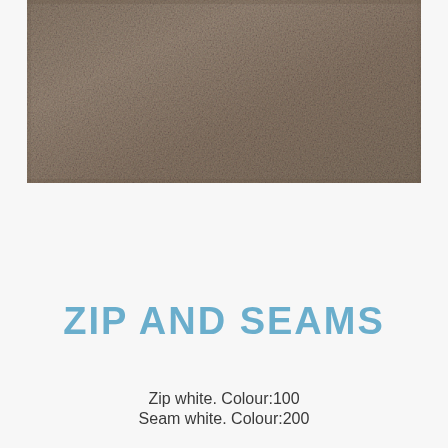[Figure (photo): Close-up texture of a taupe/brown fabric material showing woven fibres]
ZIP AND SEAMS
Zip white. Colour:100
Seam white. Colour:200